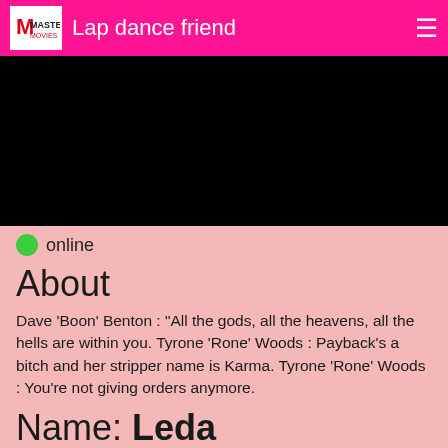Lap dance friend
[Figure (screenshot): Black video player area]
online
About
Dave 'Boon' Benton : "All the gods, all the heavens, all the hells are within you. Tyrone 'Rone' Woods : Payback's a bitch and her stripper name is Karma. Tyrone 'Rone' Woods : You're not giving orders anymore.
Name: Leda